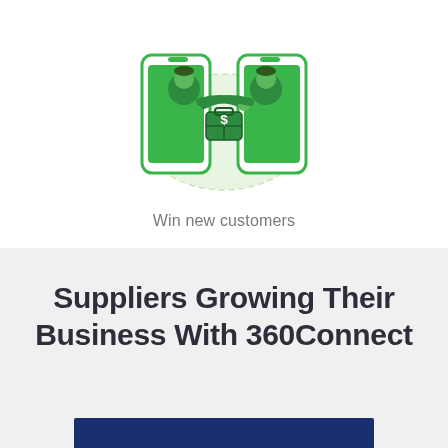[Figure (illustration): Two businessmen shaking hands, each emerging from a smartphone screen with a green background bubble. One holds a briefcase with a dollar sign. Illustration is in green tones.]
Win new customers
Suppliers Growing Their Business With 360Connect